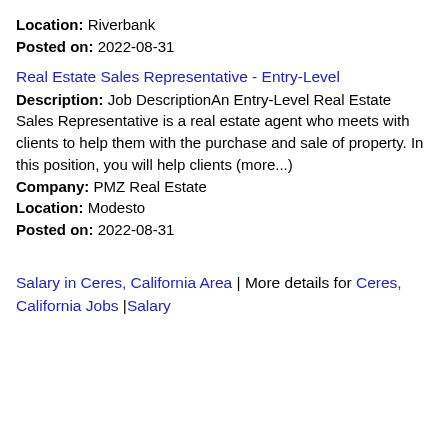Location: Riverbank
Posted on: 2022-08-31
Real Estate Sales Representative - Entry-Level
Description: Job DescriptionAn Entry-Level Real Estate Sales Representative is a real estate agent who meets with clients to help them with the purchase and sale of property. In this position, you will help clients (more...)
Company: PMZ Real Estate
Location: Modesto
Posted on: 2022-08-31
Salary in Ceres, California Area | More details for Ceres, California Jobs |Salary